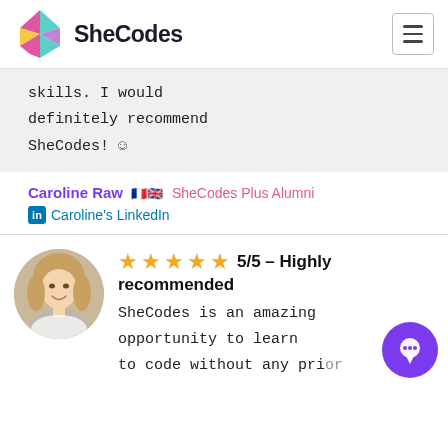[Figure (logo): SheCodes logo with colorful diamond shape and bold text 'SheCodes']
skills. I would definitely recommend SheCodes! ☺
Caroline Raw 🇫🇷🇬🇧  SheCodes Plus Alumni
📎 Caroline's LinkedIn
[Figure (photo): Profile photo of a young blonde woman smiling]
★★★★★ 5/5 – Highly recommended
SheCodes is an amazing opportunity to learn to code without any prior knowledge. During